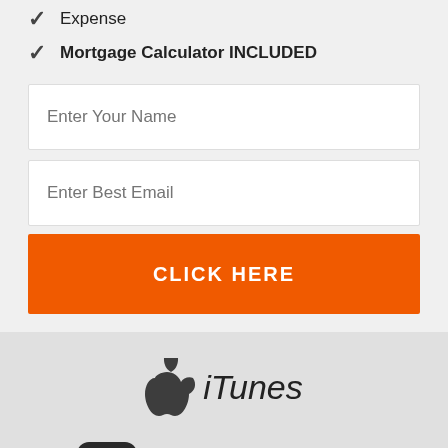Expense
Mortgage Calculator INCLUDED
Enter Your Name
Enter Best Email
CLICK HERE
[Figure (logo): Apple iTunes logo with apple symbol and italic iTunes text]
[Figure (logo): Stitcher app icon with colorful bars alongside text Subscribe in Stitcher]